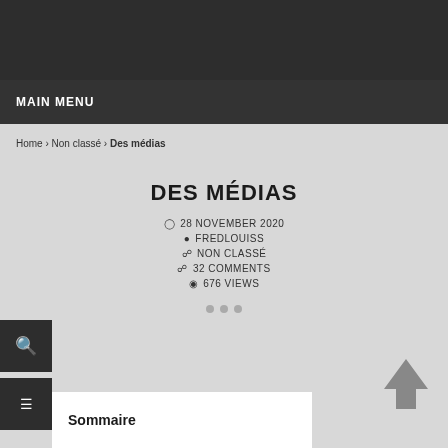MAIN MENU
Home › Non classé › Des médias
DES MÉDIAS
28 NOVEMBER 2020
FREDLOUISS
NON CLASSÉ
32 COMMENTS
676 VIEWS
Sommaire